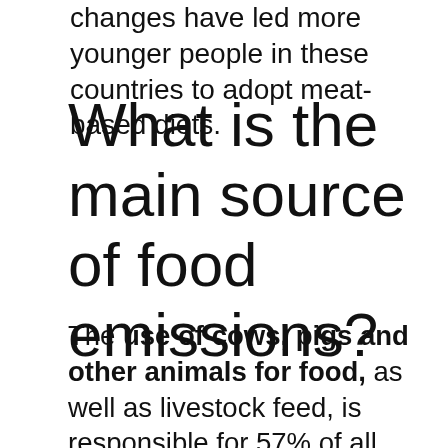changes have led more younger people in these countries to adopt meat-based diets.
What is the main source of food emissions?
The use of cows, pigs and other animals for food, as well as livestock feed, is responsible for 57% of all food production emissions, the research found, with 29% coming from the cultivation of plant-based foods. The rest comes from other uses of land, such as for cotton or rubber. Beef alone accounts for a quarter of emissions produced